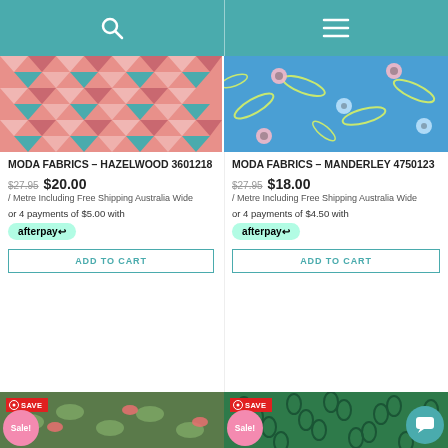Navigation bar with search and menu icons
[Figure (photo): Pink geometric triangles/diamonds fabric pattern - Moda Fabrics Hazelwood 3601218]
[Figure (photo): Blue floral fabric pattern with yellow leaves and pink flowers - Moda Fabrics Manderley 4750123]
MODA FABRICS – HAZELWOOD 3601218
$27.95  $20.00 / Metre Including Free Shipping Australia Wide
or 4 payments of $5.00 with afterpay
ADD TO CART
MODA FABRICS – MANDERLEY 4750123
$27.95  $18.00 / Metre Including Free Shipping Australia Wide
or 4 payments of $4.50 with afterpay
ADD TO CART
[Figure (photo): Green fabric with birds and leaves pattern, SAVE Sale! badge]
[Figure (photo): Dark green fabric with teardrop/leaf pattern, SAVE Sale! badge]